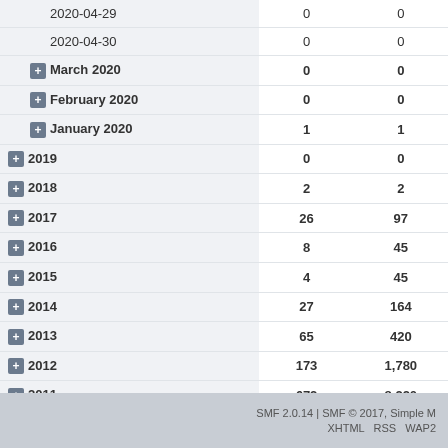| Period | Col1 | Col2 |
| --- | --- | --- |
| 2020-04-29 | 0 | 0 |
| 2020-04-30 | 0 | 0 |
| March 2020 | 0 | 0 |
| February 2020 | 0 | 0 |
| January 2020 | 1 | 1 |
| 2019 | 0 | 0 |
| 2018 | 2 | 2 |
| 2017 | 26 | 97 |
| 2016 | 8 | 45 |
| 2015 | 4 | 45 |
| 2014 | 27 | 164 |
| 2013 | 65 | 420 |
| 2012 | 173 | 1,780 |
| 2011 | 672 | 8,220 |
SMF 2.0.14 | SMF © 2017, Simple M    XHTML  RSS  WAP2